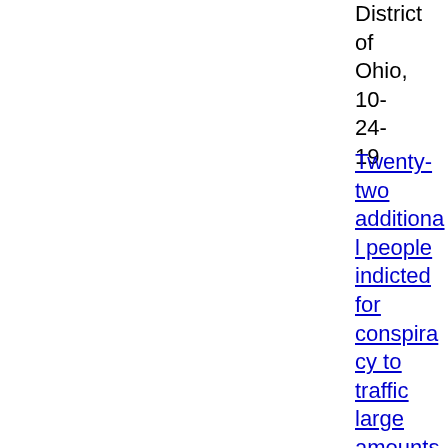District of Ohio, 10-24-19
Twenty-two additional people indicted for conspiracy to traffic large amounts of heroin, cocaine, and fentanyl in Toledo